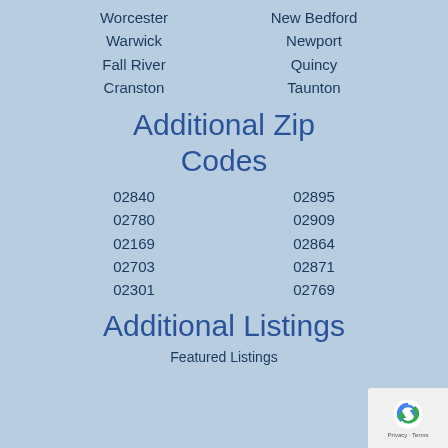Worcester | New Bedford
Warwick | Newport
Fall River | Quincy
Cranston | Taunton
Additional Zip Codes
02840 | 02895
02780 | 02909
02169 | 02864
02703 | 02871
02301 | 02769
Additional Listings
Featured Listings